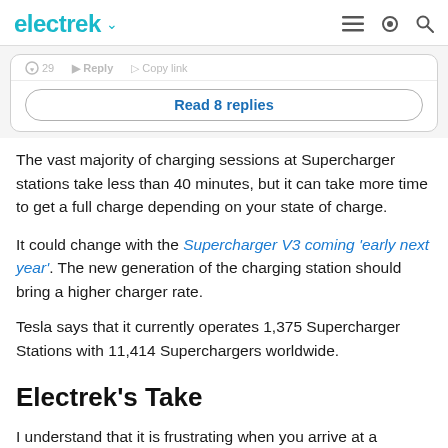electrek
[Figure (screenshot): Truncated comment action bar with icons for like (29), reply, and copy link, partially visible at top of comment card]
Read 8 replies
The vast majority of charging sessions at Supercharger stations take less than 40 minutes, but it can take more time to get a full charge depending on your state of charge.
It could change with the Supercharger V3 coming ‘early next year’. The new generation of the charging station should bring a higher charger rate.
Tesla says that it currently operates 1,375 Supercharger Stations with 11,414 Superchargers worldwide.
Electrek’s Take
I understand that it is frustrating when you arrive at a